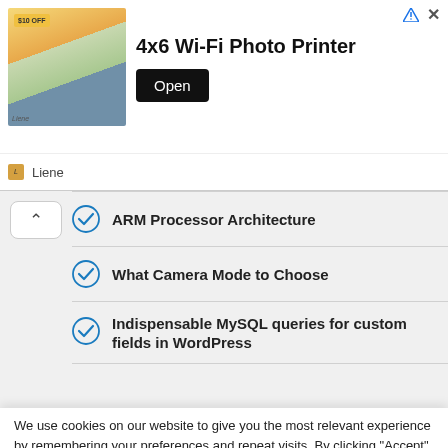[Figure (screenshot): Advertisement banner for Liene 4x6 Wi-Fi Photo Printer with $10 OFF badge, printer image, and Open button]
ARM Processor Architecture
What Camera Mode to Choose
Indispensable MySQL queries for custom fields in WordPress
We use cookies on our website to give you the most relevant experience by remembering your preferences and repeat visits. By clicking “Accept”, you consent to the use of ALL the cookies.
Do not sell my personal information.
Cookie Settings  Accept